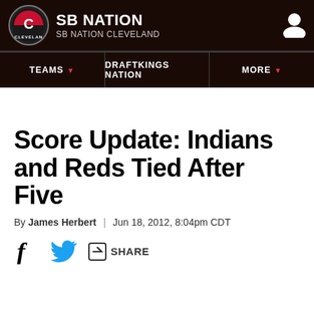SB NATION / SB NATION CLEVELAND
TEAMS | DRAFTKINGS NATION | MORE
Score Update: Indians and Reds Tied After Five
By James Herbert | Jun 18, 2012, 8:04pm CDT
SHARE